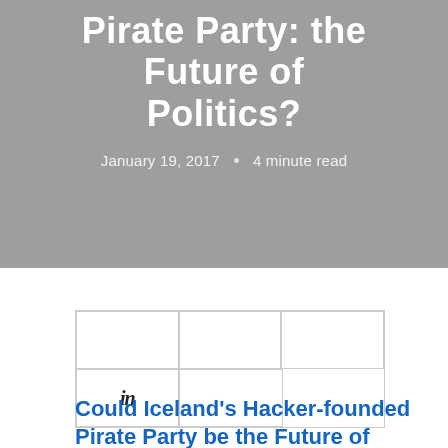Pirate Party: the Future of Politics?
January 19, 2017 · 4 minute read
[Figure (other): Social share buttons grid: 3 columns top row (empty cells), bottom row with LinkedIn icon in first cell, one empty cell]
Could Iceland's Hacker-founded Pirate Party be the Future of